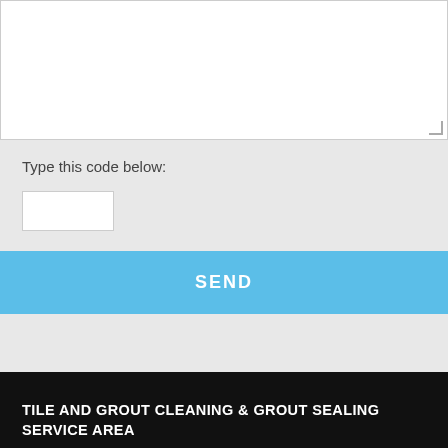[Figure (screenshot): A textarea input box with white background and resize handle in bottom-right corner]
Type this code below:
[Figure (screenshot): A small white input box for CAPTCHA code entry]
[Figure (screenshot): A blue SEND button with white bold uppercase text]
TILE AND GROUT CLEANING & GROUT SEALING SERVICE AREA
We are located in Odessa, FL. We provide our services tile cleaning, grout cleaning and grout sealing services in the following counties:
Hernando County
Hillsborough County